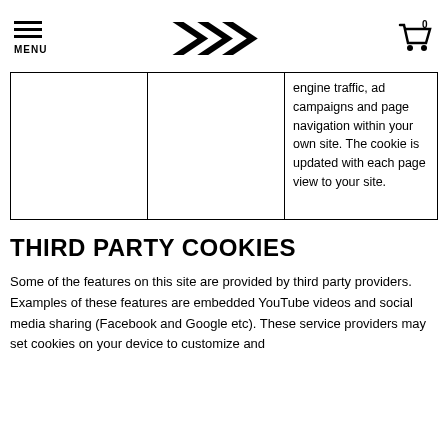MENU | DAIWA Logo | Cart 0
|  |  | engine traffic, ad campaigns and page navigation within your own site. The cookie is updated with each page view to your site. |
THIRD PARTY COOKIES
Some of the features on this site are provided by third party providers. Examples of these features are embedded YouTube videos and social media sharing (Facebook and Google etc). These service providers may set cookies on your device to customize and